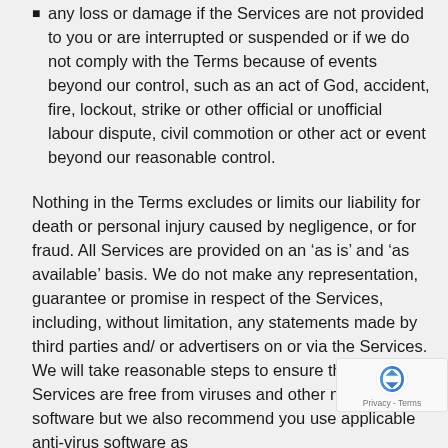any loss or damage if the Services are not provided to you or are interrupted or suspended or if we do not comply with the Terms because of events beyond our control, such as an act of God, accident, fire, lockout, strike or other official or unofficial labour dispute, civil commotion or other act or event beyond our reasonable control.
Nothing in the Terms excludes or limits our liability for death or personal injury caused by negligence, or for fraud. All Services are provided on an ‘as is’ and ‘as available’ basis. We do not make any representation, guarantee or promise in respect of the Services, including, without limitation, any statements made by third parties and/ or advertisers on or via the Services. We will take reasonable steps to ensure that our Services are free from viruses and other malicious software but we also recommend you use applicable anti-virus software as